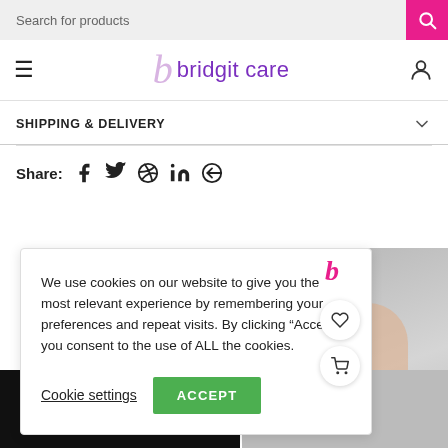Search for products
[Figure (logo): bridgit care logo with stylized lowercase b and purple text]
SHIPPING & DELIVERY
Share:
We use cookies on our website to give you the most relevant experience by remembering your preferences and repeat visits. By clicking “Accept”, you consent to the use of ALL the cookies.
Cookie settings   ACCEPT